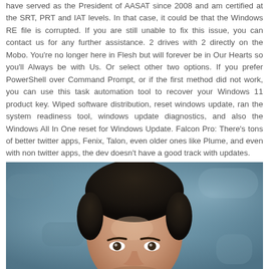have served as the President of AASAT since 2008 and am certified at the SRT, PRT and IAT levels. In that case, it could be that the Windows RE file is corrupted. If you are still unable to fix this issue, you can contact us for any further assistance. 2 drives with 2 directly on the Mobo. You're no longer here in Flesh but will forever be in Our Hearts so you'll Always be with Us. Or select other two options. If you prefer PowerShell over Command Prompt, or if the first method did not work, you can use this task automation tool to recover your Windows 11 product key. Wiped software distribution, reset windows update, ran the system readiness tool, windows update diagnostics, and also the Windows All In One reset for Windows Update. Falcon Pro: There's tons of better twitter apps, Fenix, Talon, even older ones like Plume, and even with non twitter apps, the dev doesn't have a good track with updates.
[Figure (photo): Portrait photo of a person, showing the top of their head and face partially. The background is a muted teal/blue textured surface.]